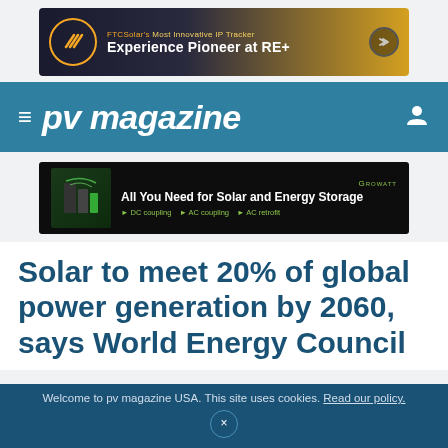[Figure (other): FTCSolar advertisement banner: 'FTCSolar's Most Innovative IP Tracker – Experience Pioneer at RE+' with circular logo and arrow button]
≡ pv magazine
[Figure (other): Growatt advertisement banner: 'All You Need for Solar and Energy Storage – DC coupling, AC coupling, AC retrofit']
Solar to meet 20% of global power generation by 2060, says World Energy Council
Welcome to pv magazine USA. This site uses cookies. Read our policy.